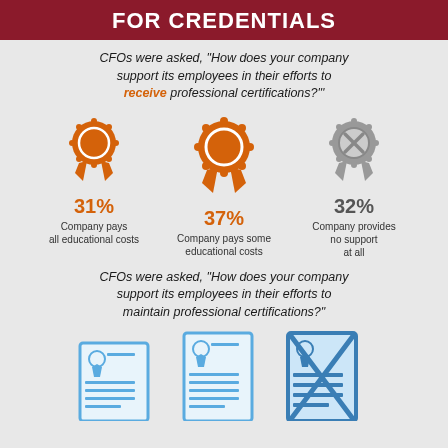FOR CREDENTIALS
CFOs were asked, “How does your company support its employees in their efforts to receive professional certifications?”’
[Figure (infographic): Three award ribbon icons with percentages: 31% orange ribbon (Company pays all educational costs), 37% orange ribbon (Company pays some educational costs), 32% gray ribbon with X (Company provides no support at all)]
CFOs were asked, “How does your company support its employees in their efforts to maintain professional certifications?”
[Figure (infographic): Three certificate document icons (blue outline): plain certificate, certificate with ribbon, crossed-out certificate]